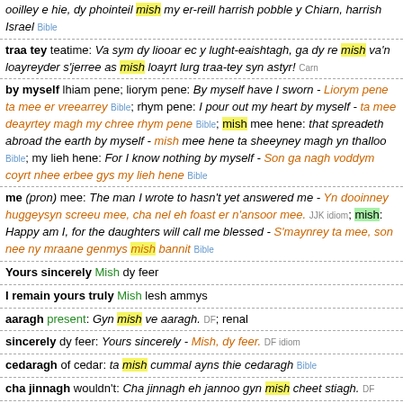ooilley e hie, dy phointeil mish my er-reill harrish pobble y Chiarn, harrish Israel Bible
traa tey teatime: Va sym dy liooar ec y lught-eaishtagh, ga dy re mish va'n loayreyder s'jerree as mish loayrt lurg traa-tey syn astyr! Carn
by myself lhiam pene; liorym pene: By myself have I sworn - Liorym pene ta mee er vreearrey Bible; rhym pene: I pour out my heart by myself - ta mee deayrtey magh my chree rhym pene Bible; mish mee hene: that spreadeth abroad the earth by myself - mish mee hene ta sheeyney magh yn thalloo Bible; my lieh hene: For I know nothing by myself - Son ga nagh voddym coyrt nhee erbee gys my lieh hene Bible
me (pron) mee: The man I wrote to hasn't yet answered me - Yn dooinney huggeysyn screeu mee, cha nel eh foast er n'ansoor mee. JJK idiom; mish: Happy am I, for the daughters will call me blessed - S'maynrey ta mee, son nee ny mraane genmys mish bannit Bible
Yours sincerely Mish dy feer
I remain yours truly Mish lesh ammys
aaragh present: Gyn mish ve aaragh. DF; renal
sincerely dy feer: Yours sincerely - Mish, dy feer. DF idiom
cedaragh of cedar: ta mish cummal ayns thie cedaragh Bible
cha jinnagh wouldn't: Cha jinnagh eh jannoo gyn mish cheet stiagh. DF
C'hon (interrog.) Why: c'hon daag oo mish cho moal, fadane myr baagh? PC
curnal colonel: Ta conaant er ve jeant eddyr Curnal Duckenfield as mish.